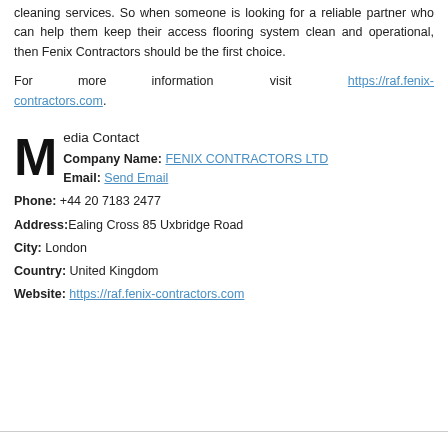cleaning services. So when someone is looking for a reliable partner who can help them keep their access flooring system clean and operational, then Fenix Contractors should be the first choice.
For more information visit https://raf.fenix-contractors.com.
Media Contact
Company Name: FENIX CONTRACTORS LTD
Email: Send Email
Phone: +44 20 7183 2477
Address: Ealing Cross 85 Uxbridge Road
City: London
Country: United Kingdom
Website: https://raf.fenix-contractors.com